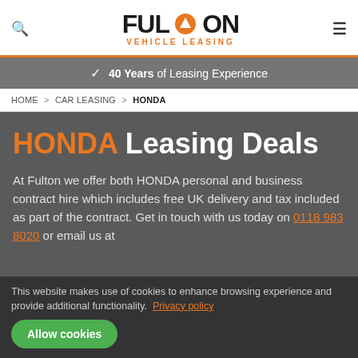Fulton Vehicle Leasing
✓ 40 Years of Leasing Experience
HOME > CAR LEASING > HONDA
HONDA Leasing Deals
At Fulton we offer both HONDA personal and business contract hire which includes free UK delivery and tax included as part of the contract. Get in touch with us today on 0118 983 8020 or email us at
This website makes use of cookies to enhance browsing experience and provide additional functionality. Privacy policy